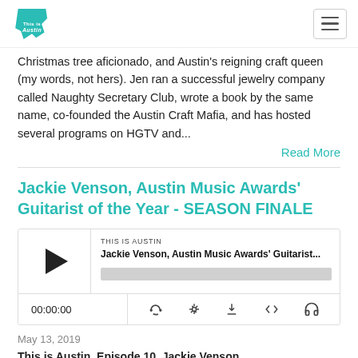This is Austin
Christmas tree aficionado, and Austin's reigning craft queen (my words, not hers). Jen ran a successful jewelry company called Naughty Secretary Club, wrote a book by the same name, co-founded the Austin Craft Mafia, and has hosted several programs on HGTV and...
Read More
Jackie Venson, Austin Music Awards' Guitarist of the Year - SEASON FINALE
[Figure (screenshot): Podcast player widget showing 'THIS IS AUSTIN' label, episode title 'Jackie Venson, Austin Music Awards' Guitarist...', play button, progress bar, time counter 00:00:00, and control icons]
May 13, 2019
This is Austin, Episode 10, Jackie Venson...